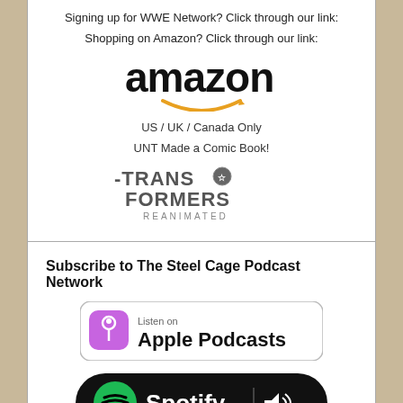Signing up for WWE Network? Click through our link:
Shopping on Amazon? Click through our link:
[Figure (logo): Amazon logo with orange smile arrow underneath]
US / UK / Canada Only
UNT Made a Comic Book!
[Figure (logo): Transformers Reanimated logo in metallic style text]
Subscribe to The Steel Cage Podcast Network
[Figure (logo): Listen on Apple Podcasts badge]
[Figure (logo): Listen on Spotify badge - black pill shaped button]
[Figure (logo): Amazon Music badge - black rectangle with amazon music text]